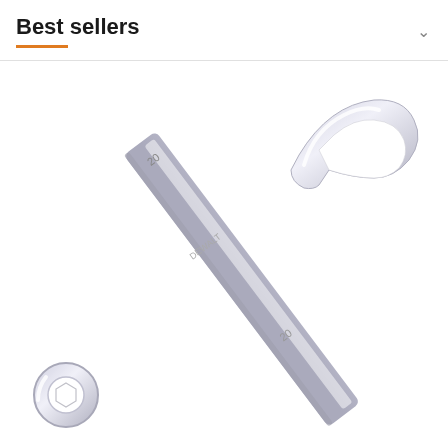Best sellers
[Figure (photo): A chrome combination wrench (size 20mm) photographed diagonally on white background. The wrench has an open end at the top right and a ring/box end at the bottom left. The number '20' is visible on the handle near both ends.]